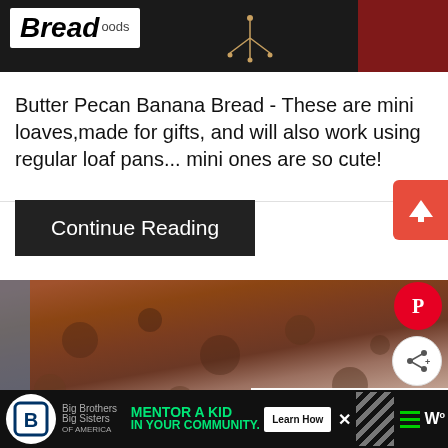[Figure (photo): Website header with Bread logo on dark background with decorative elements and red section on right]
Butter Pecan Banana Bread - These are mini loaves,made for gifts, and will also work using regular loaf pans... mini ones are so cute!
Continue Reading
[Figure (photo): Close-up photo of sliced banana bread with pecan texture on blue background, with Pinterest and share buttons overlay, and What's Next panel showing 'How To Make Quick and...']
WHAT'S NEXT → How To Make Quick and...
[Figure (infographic): Advertisement bar: Big Brothers Big Sisters - MENTOR A KID IN YOUR COMMUNITY. Learn How button]